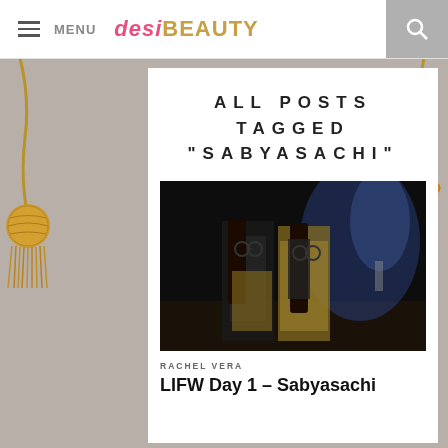MENU | desiBeauty
ALL POSTS TAGGED "SABYASACHI"
[Figure (photo): Two female models walking on a fashion runway wearing Sabyasachi outfits — printed sarees with dark vests and round sunglasses, dark runway with blue stage lighting in background]
RACHEL VERA
LIFW Day 1 – Sabyasachi